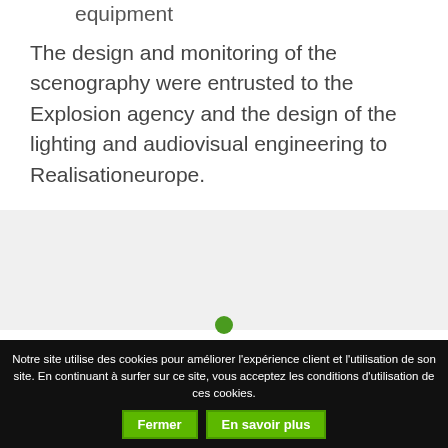equipment
The design and monitoring of the scenography were entrusted to the Explosion agency and the design of the lighting and audiovisual engineering to Realisationeurope.
[Figure (other): Gray section with a green dot indicator (carousel or pagination dot)]
Notre site utilise des cookies pour améliorer l'expérience client et l'utilisation de son site. En continuant à surfer sur ce site, vous acceptez les conditions d'utilisation de ces cookies. [Fermer] [En savoir plus]